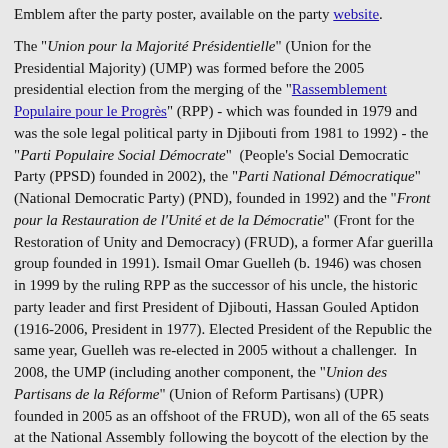Emblem after the party poster, available on the party website.
The "Union pour la Majorité Présidentielle" (Union for the Presidential Majority) (UMP) was formed before the 2005 presidential election from the merging of the "Rassemblement Populaire pour le Progrès" (RPP) - which was founded in 1979 and was the sole legal political party in Djibouti from 1981 to 1992) - the "Parti Populaire Social Démocrate" (People's Social Democratic Party (PPSD) founded in 2002), the "Parti National Démocratique" (National Democratic Party) (PND), founded in 1992) and the "Front pour la Restauration de l'Unité et de la Démocratie" (Front for the Restoration of Unity and Democracy) (FRUD), a former Afar guerilla group founded in 1991). Ismail Omar Guelleh (b. 1946) was chosen in 1999 by the ruling RPP as the successor of his uncle, the historic party leader and first President of Djibouti, Hassan Gouled Aptidon (1916-2006, President in 1977). Elected President of the Republic the same year, Guelleh was re-elected in 2005 without a challenger. In 2008, the UMP (including another component, the "Union des Partisans de la Réforme" (Union of Reform Partisans) (UPR) founded in 2005 as an offshoot of the FRUD), won all of the 65 seats at the National Assembly following the boycott of the election by the opposition parties. In 2003, the UMP had already won all the seats in spite of the opposition having won 38% of the votes.